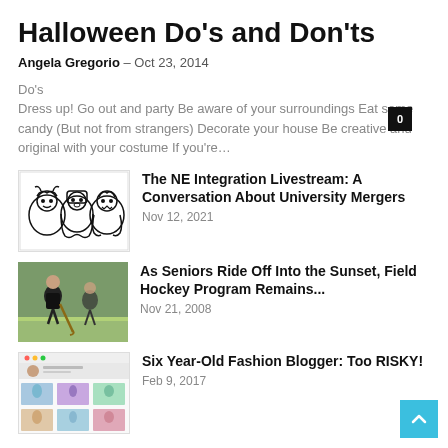Halloween Do’s and Don’ts
Angela Gregorio – Oct 23, 2014
Do’s
Dress up! Go out and party Be aware of your surroundings Eat some candy (But not from strangers) Decorate your house Be creative and original with your costume If you’re…
[Figure (illustration): Three cartoon/illustrated characters with Halloween-style costumes - a monster, a ghost-like figure, and a vampire, drawn in black and white line art style]
The NE Integration Livestream: A Conversation About University Mergers
Nov 12, 2021
[Figure (photo): Field hockey players in action on a field, photo in color]
As Seniors Ride Off Into the Sunset, Field Hockey Program Remains…
Nov 21, 2008
[Figure (screenshot): Screenshot of a social media profile page with multiple photo thumbnails]
Six Year-Old Fashion Blogger: Too RISKY!
Feb 9, 2017